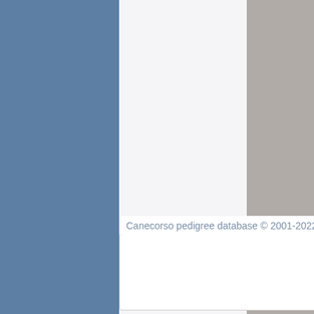[Figure (photo): Photo of a Cane Corso dog, partially visible at top right corner of page]
Ped# : LI101
Titles :
Colour : Gre
HD : unknow
Canecorso pedigree database © 2001-2022 Powered by Django